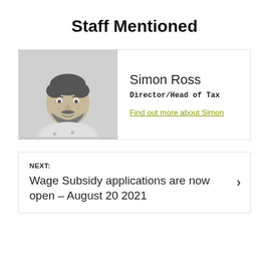Staff Mentioned
[Figure (photo): Black and white headshot photo of Simon Ross, a man with a beard wearing a floral shirt]
Simon Ross
Director/Head of Tax
Find out more about Simon
NEXT:
Wage Subsidy applications are now open – August 20 2021